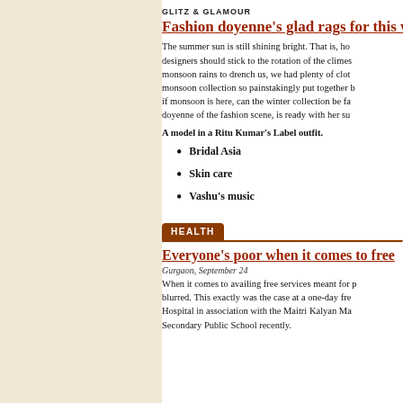GLITZ & GLAMOUR
Fashion doyenne's glad rags for this w...
The summer sun is still shining bright. That is, ho designers should stick to the rotation of the climes monsoon rains to drench us, we had plenty of cloth monsoon collection so painstakingly put together b if monsoon is here, can the winter collection be fa doyenne of the fashion scene, is ready with her su
A model in a Ritu Kumar's Label outfit.
Bridal Asia
Skin care
Vashu's music
HEALTH
Everyone's poor when it comes to free...
Gurgaon, September 24
When it comes to availing free services meant for p blurred. This exactly was the case at a one-day fre Hospital in association with the Maitri Kalyan Ma Secondary Public School recently.